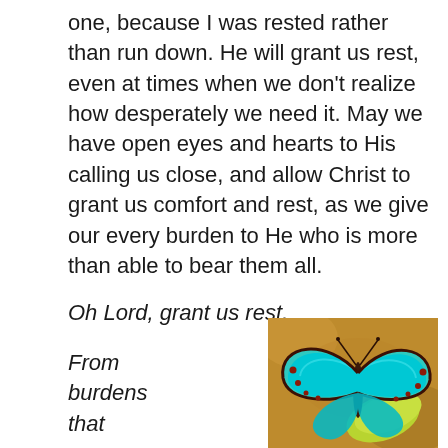one, because I was rested rather than run down. He will grant us rest, even at times when we don't realize how desperately we need it. May we have open eyes and hearts to His calling us close, and allow Christ to grant us comfort and rest, as we give our every burden to He who is more than able to bear them all.
Oh Lord, grant us rest,
From burdens that come;
[Figure (photo): A vibrant blue morpho butterfly with teal/cyan wings and brown trim with red spots, resting on a yellow-green leaf against a blurred golden-brown background.]